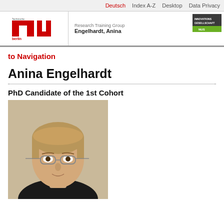Deutsch  Index A-Z  Desktop  Data Privacy
[Figure (logo): TU Berlin logo (red T and U with Berlin text) and Innovationsgesellschaft badge]
Research Training Group
Engelhardt, Anina
to Navigation
Anina Engelhardt
PhD Candidate of the 1st Cohort
[Figure (photo): Headshot photo of Anina Engelhardt, a woman with short blonde hair and round glasses, wearing dark clothing, against a light beige background]